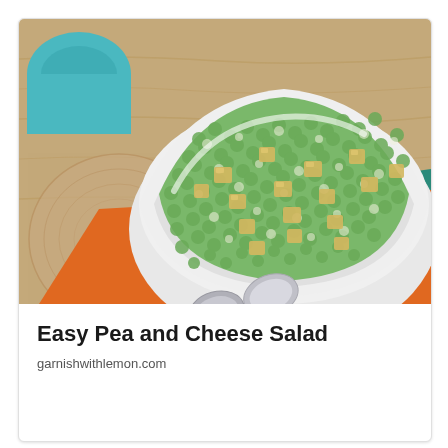[Figure (photo): A white square bowl filled with pea and cheese salad — green peas coated in creamy dressing mixed with cubed yellow cheese. The bowl sits on an orange cloth napkin with a teal cloth underneath, and two silver spoons rest on the napkin. A teal mug is partially visible in the upper left background. The setting is on a wooden surface.]
Easy Pea and Cheese Salad
garnishwithlemon.com